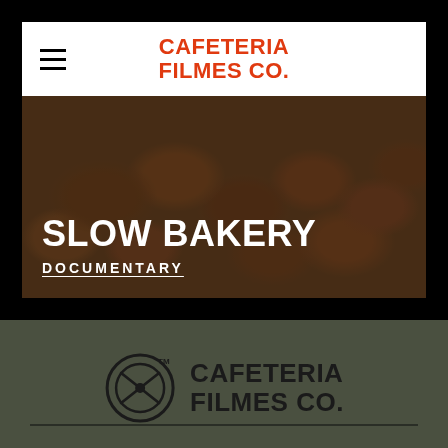[Figure (logo): Cafeteria Filmes Co. logo text in bold orange/red capitals in white navigation bar]
[Figure (photo): Documentary hero image showing baked bread rolls on a tray, dark background with white bold text SLOW BAKERY and underlined DOCUMENTARY]
[Figure (logo): Cafeteria Filmes Co. full logo with circular film reel icon and bold black text on dark olive background, with horizontal divider line below]